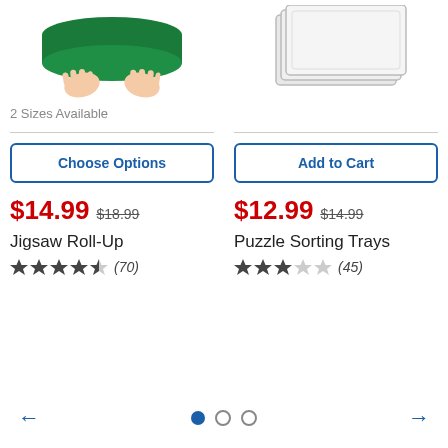[Figure (photo): Person unrolling a green jigsaw puzzle roll-up mat]
[Figure (photo): Stack of white puzzle sorting trays]
2 Sizes Available
Choose Options
Add to Cart
$14.99  $18.99
$12.99  $14.99
Jigsaw Roll-Up
Puzzle Sorting Trays
★★★★½ (70)
★★★☆☆ (45)